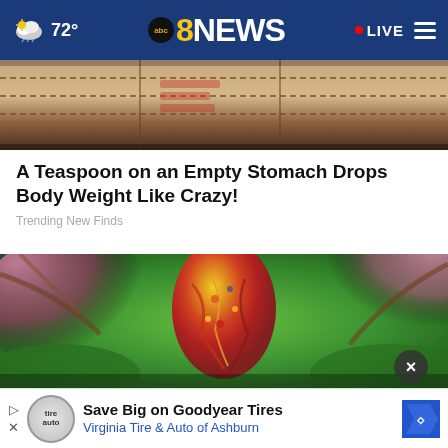72° | abc8NEWS | LIVE
[Figure (photo): Partial view of a cardboard box or wooden crate, brown/beige tones]
A Teaspoon on an Empty Stomach Drops Body Weight Like Crazy!
Trending New Finds
[Figure (photo): Colorful decorative glass Easter egg with red, yellow, orange, and green swirl patterns, hanging among pink blossoms and green foliage. A close button (×) overlay is visible in the bottom right area.]
Save Big on Goodyear Tires
Virginia Tire & Auto of Ashburn